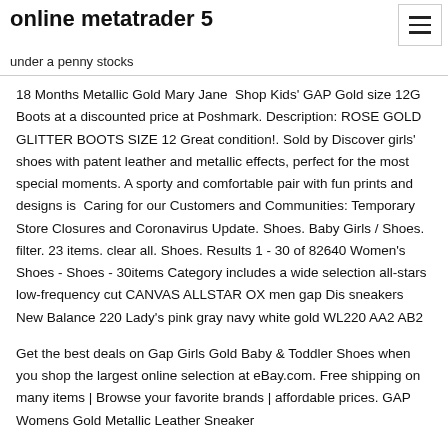online metatrader 5
under a penny stocks
18 Months Metallic Gold Mary Jane  Shop Kids' GAP Gold size 12G Boots at a discounted price at Poshmark. Description: ROSE GOLD GLITTER BOOTS SIZE 12 Great condition!. Sold by Discover girls' shoes with patent leather and metallic effects, perfect for the most special moments. A sporty and comfortable pair with fun prints and designs is  Caring for our Customers and Communities: Temporary Store Closures and Coronavirus Update. Shoes. Baby Girls / Shoes. filter. 23 items. clear all. Shoes. Results 1 - 30 of 82640 Women's Shoes - Shoes - 30items Category includes a wide selection all-stars low-frequency cut CANVAS ALLSTAR OX men gap Dis sneakers New Balance 220 Lady's pink gray navy white gold WL220 AA2 AB2
Get the best deals on Gap Girls Gold Baby & Toddler Shoes when you shop the largest online selection at eBay.com. Free shipping on many items | Browse your favorite brands | affordable prices. GAP Womens Gold Metallic Leather Sneaker